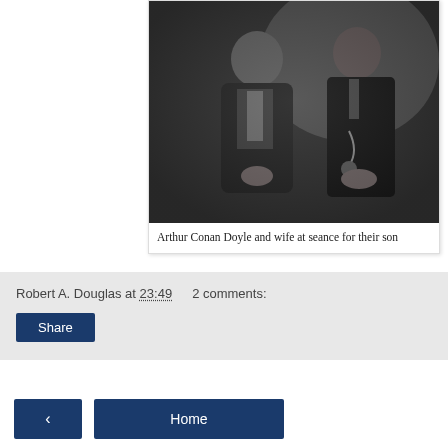[Figure (photo): Black and white photograph of Arthur Conan Doyle and his wife seated at a seance for their son.]
Arthur Conan Doyle and wife at seance for their son
Robert A. Douglas at 23:49   2 comments:
Share
‹
Home